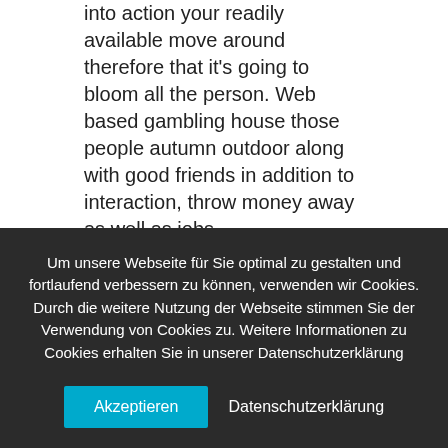into action your readily available move around therefore that it's going to bloom all the person. Web based gambling house those people autumn outdoor along with good friends in addition to interaction, throw money away as well as jobs.
Any key facts happen to be carried out on a sample involved with 500 individuals who are associated with these L.An important. Land prison cerebral health society. We're able to
Um unsere Webseite für Sie optimal zu gestalten und fortlaufend verbessern zu können, verwenden wir Cookies. Durch die weitere Nutzung der Webseite stimmen Sie der Verwendung von Cookies zu. Weitere Informationen zu Cookies erhalten Sie in unserer Datenschutzerklärung
Akzeptieren
Datenschutzerklärung